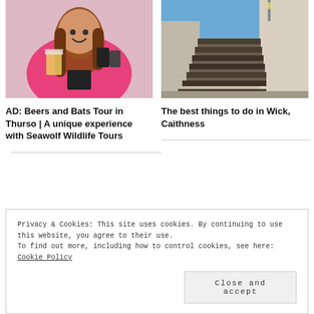[Figure (photo): Woman smiling holding a beer glass and other items, wearing a pink hoodie]
[Figure (photo): Outdoor stone staircase leading upward between walls under blue sky]
AD: Beers and Bats Tour in Thurso | A unique experience with Seawolf Wildlife Tours
The best things to do in Wick, Caithness
Privacy & Cookies: This site uses cookies. By continuing to use this website, you agree to their use.
To find out more, including how to control cookies, see here:
Cookie Policy
Close and accept
[Figure (photo): Partial photo at bottom left, appears to show an animal or outdoor scene]